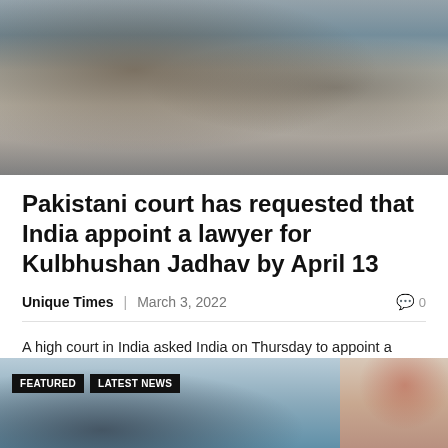[Figure (photo): People holding a banner or flag at a protest or demonstration, with figures visible behind the cloth]
Pakistani court has requested that India appoint a lawyer for Kulbhushan Jadhav by April 13
Unique Times | March 3, 2022   0
A high court in India asked India on Thursday to appoint a lawyer for death-row inmate Kulbhushan Jadhav by April 13 to argue his case for a review of his conviction and sentence by a
[Figure (photo): Two images at the bottom: left shows a water/ocean scene with a person, labeled FEATURED and LATEST NEWS; right shows a boat with red objects]